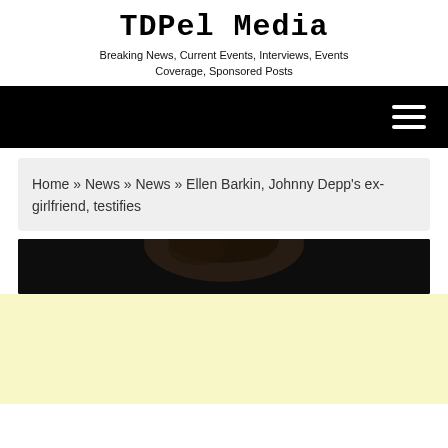TDPel Media
Breaking News, Current Events, Interviews, Events Coverage, Sponsored Posts
Navigation bar with hamburger menu
Home » News » News » Ellen Barkin, Johnny Depp's ex-girlfriend, testifies
[Figure (photo): Dark photograph showing the top of a person's head with dark hair against a black background]
[Figure (other): Light yellow advertisement banner]